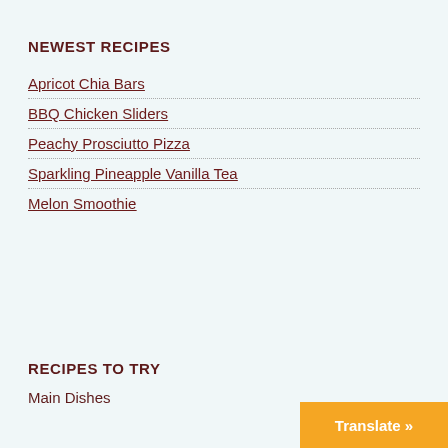NEWEST RECIPES
Apricot Chia Bars
BBQ Chicken Sliders
Peachy Prosciutto Pizza
Sparkling Pineapple Vanilla Tea
Melon Smoothie
RECIPES TO TRY
Main Dishes
Translate »